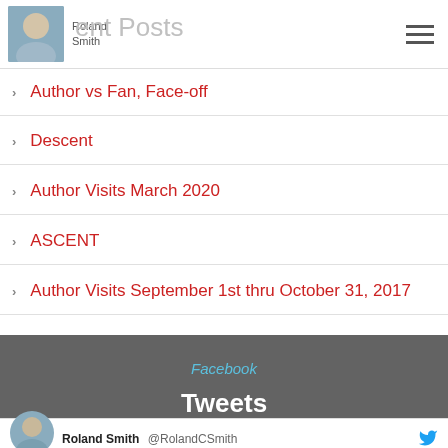Roland Smith — Recent Posts
Author vs Fan, Face-off
Descent
Author Visits March 2020
ASCENT
Author Visits September 1st thru October 31, 2017
Facebook
Tweets
Roland Smith @RolandCSmith
RolandCSmith @D_C_Butler Because I didn't sell the digital rights to the